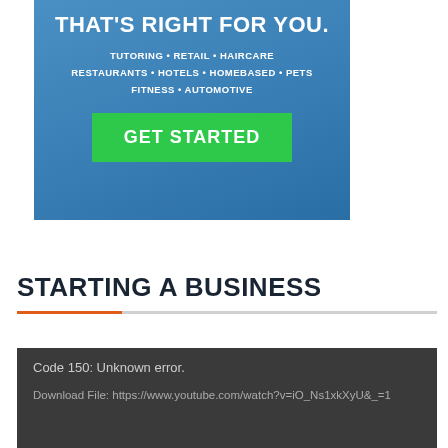[Figure (infographic): Blue gradient advertisement banner with white text reading 'FIND THE BUSINESS THAT'S RIGHT FOR YOU.' followed by category list: TUTORING • RETAIL • HAIRCARE / RESTAURANTS • HOTELS • HOMEBASED • PETS / FITNESS • AUTOMOTIVE, and a green 'GET STARTED' button.]
STARTING A BUSINESS
Code 150: Unknown error.

Download File: https://www.youtube.com/watch?v=iO_Ns1xkXyU&_=1